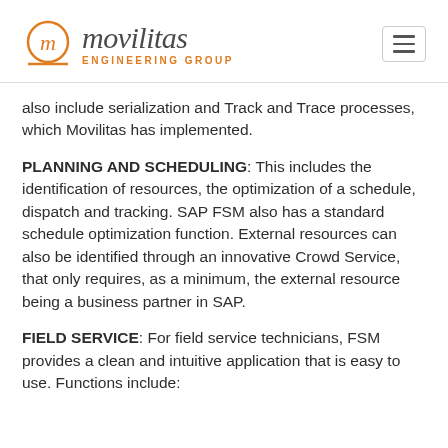movilitas ENGINEERING GROUP
also include serialization and Track and Trace processes, which Movilitas has implemented.
PLANNING AND SCHEDULING: This includes the identification of resources, the optimization of a schedule, dispatch and tracking. SAP FSM also has a standard schedule optimization function. External resources can also be identified through an innovative Crowd Service, that only requires, as a minimum, the external resource being a business partner in SAP.
FIELD SERVICE: For field service technicians, FSM provides a clean and intuitive application that is easy to use. Functions include: